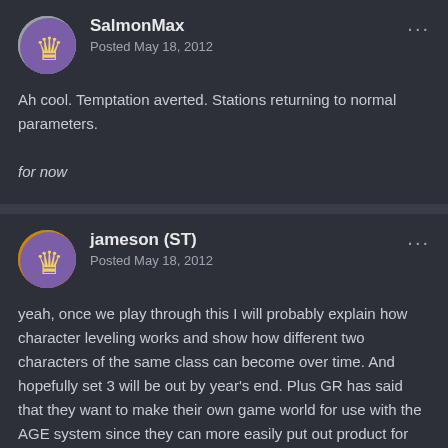SalmonMax
Posted May 18, 2012
Ah cool. Temptation averted. Stations returning to normal parameters.
for now
jameson (ST)
Posted May 18, 2012
yeah, once we play through this I will probably explain how character leveling works and show how different two characters of the same class can become over time. And hopefully set 3 will be out by year's end. Plus GR has said that they want to make their own game world for use with the AGE system since they can more easily put out product for something they own as opposed to a licence.